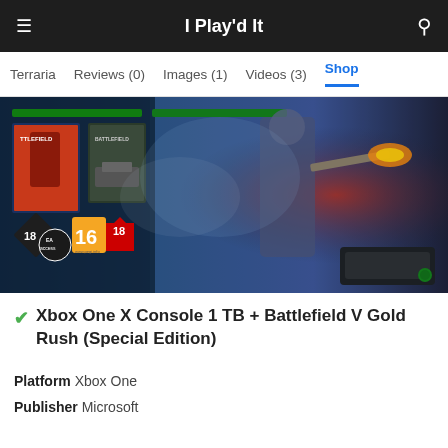I Play'd It
Terraria  Reviews (0)  Images (1)  Videos (3)  Shop
[Figure (photo): Xbox One X Console 1 TB + Battlefield V Gold Rush (Special Edition) product image showing game box art with soldiers, EA access logo, age ratings 16 and 18, and Xbox One X console]
Xbox One X Console 1 TB + Battlefield V Gold Rush (Special Edition)
Platform Xbox One
Publisher Microsoft